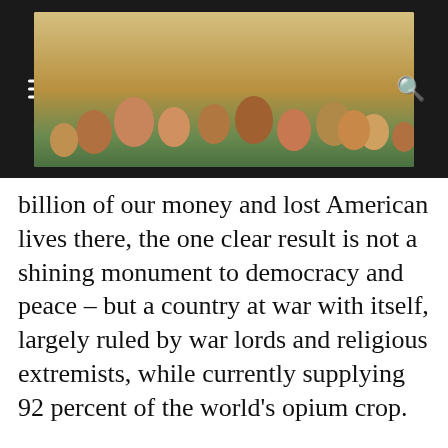The Hightower Lowdown — Everybody Does Better When Everybody Does Better
billion of our money and lost American lives there, the one clear result is not a shining monument to democracy and peace – but a country at war with itself, largely ruled by war lords and religious extremists, while currently supplying 92 percent of the world's opium crop.
This is Jim Hightower saying… The Bushites are incompetent losers. It's time to stop